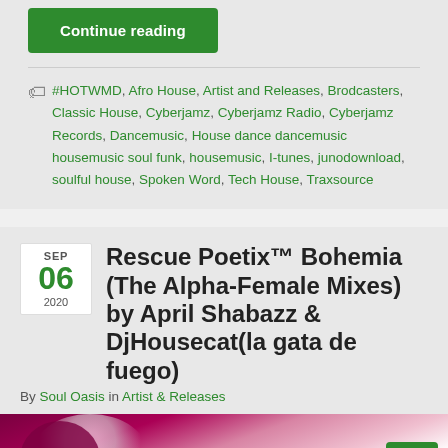Continue reading
#HOTWMD, Afro House, Artist and Releases, Brodcasters, Classic House, Cyberjamz, Cyberjamz Radio, Cyberjamz Records, Dancemusic, House dance dancemusic housemusic soul funk, housemusic, I-tunes, junodownload, soulful house, Spoken Word, Tech House, Traxsource
Rescue Poetix™ Bohemia (The Alpha-Female Mixes) by April Shabazz & DjHousecat(la gata de fuego)
By Soul Oasis in Artist & Releases
[Figure (photo): Photo showing a person with dark and white stylized image on dark magenta/pink background]